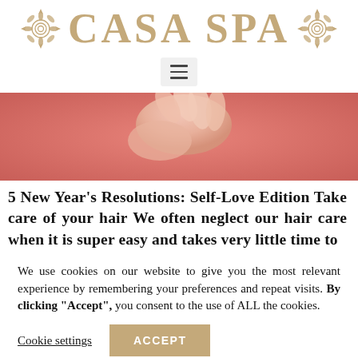[Figure (logo): Casa Spa logo with gold ornamental floral decorations on left and right of the text CASA SPA in large gold serif letters]
[Figure (screenshot): Hamburger menu icon button in a light grey rounded rectangle]
[Figure (photo): Close-up photo of a hand or similar body part against a pink/coral background]
5 New Year’s Resolutions: Self-Love Edition Take care of your hair We often neglect our hair care when it is super easy and takes very little time to
We use cookies on our website to give you the most relevant experience by remembering your preferences and repeat visits. By clicking “Accept”, you consent to the use of ALL the cookies.
Cookie settings
ACCEPT